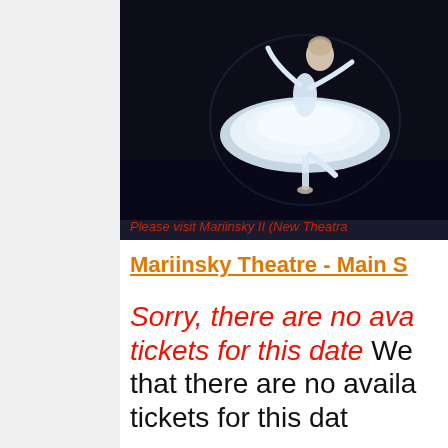[Figure (photo): Ballet dancer in white tutu performing on a dark stage]
Please visit Mariinsky II (New Theat...
Mariinsky Theatre - Main S...
Sorry, there are no available tickets for this date We... that there are no availa... tickets for this dat...